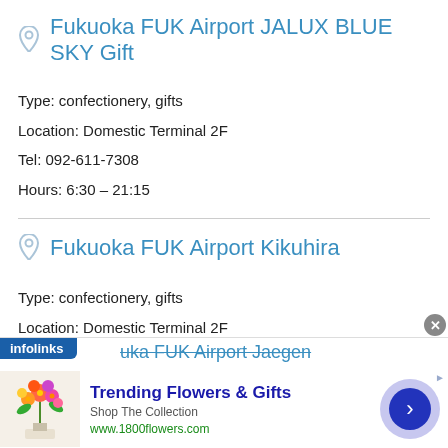Fukuoka FUK Airport JALUX BLUE SKY Gift
Type: confectionery, gifts
Location: Domestic Terminal 2F
Tel: 092-611-7308
Hours: 6:30 – 21:15
Fukuoka FUK Airport Kikuhira
Type: confectionery, gifts
Location: Domestic Terminal 2F
Tel: 092-611-3066
Hours: 6:30 – 21:00
[Figure (screenshot): Advertisement banner: infolinks label, partially visible title 'Fukuoka FUK Airport Jaegen' with strikethrough, and ad for 'Trending Flowers & Gifts' from www.1800flowers.com with flower image and navigation arrow button]